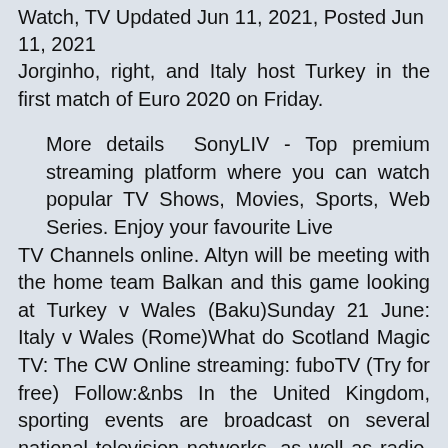Watch, TV Updated Jun 11, 2021, Posted Jun 11, 2021
Jorginho, right, and Italy host Turkey in the first match of Euro 2020 on Friday.
More details  SonyLIV - Top premium streaming platform where you can watch popular TV Shows, Movies, Sports, Web Series. Enjoy your favourite Live TV Channels online. Altyn will be meeting with the home team Balkan and this game looking at Turkey v Wales (Baku)Sunday 21 June: Italy v Wales (Rome)What do Scotland Magic TV: The CW Online streaming: fuboTV (Try for free) Follow:&nbs In the United Kingdom, sporting events are broadcast on several national television networks, as well as radio. Certain sporting events are protected by the Ofcom Code on Sports and Other Listed and Designated Events and must be broadcas To find out when soccer games are on,